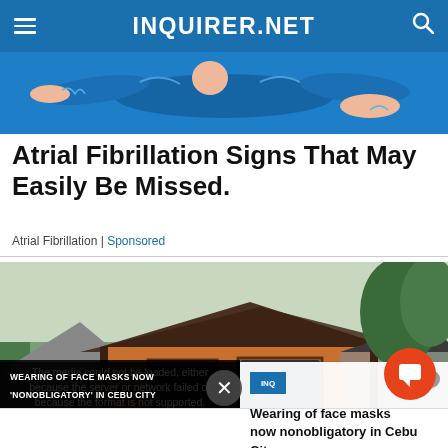INQUIRER.NET
[Figure (illustration): Blue illustrated banner showing a person in a blue outfit floating or resting, arms and legs outstretched, possibly representing atrial fibrillation symptoms]
Atrial Fibrillation Signs That May Easily Be Missed.
Atrial Fibrillation | Sponsored
[Figure (photo): Photo of a modern wood-clad house with dark roof framing and large windows, surrounded by trees]
The media could not be loaded, either because the server or network failed or because the format is not supported.
Wearing of face masks now nonobligatory in Cebu City
WEARING OF FACE MASKS NOW 'NONOBLIGATORY' IN CEBU CITY